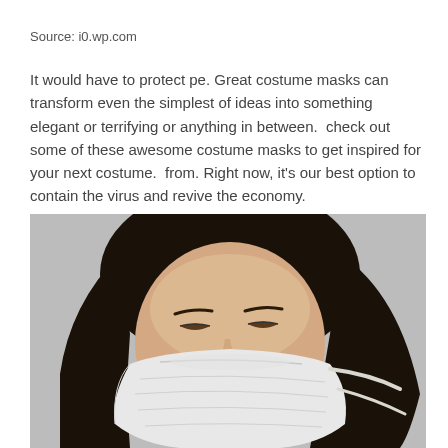Source: i0.wp.com
It would have to protect pe. Great costume masks can transform even the simplest of ideas into something elegant or terrifying or anything in between.  check out some of these awesome costume masks to get inspired for your next costume.  from. Right now, it's our best option to contain the virus and revive the economy.
[Figure (photo): A woman with dark hair wearing a white KN95/surgical face mask, eyes partially closed, photographed against a light gray background. The photo is cropped to show mainly her face and hair from the nose up.]